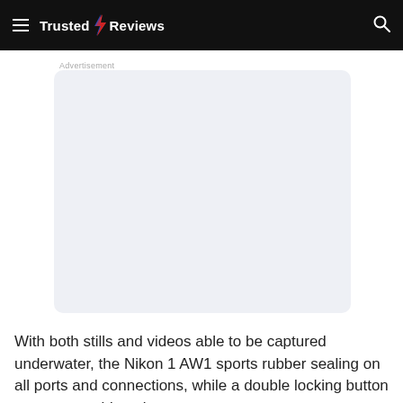Trusted Reviews
Advertisement
[Figure (other): Empty advertisement placeholder box with light blue-grey background and rounded corners]
With both stills and videos able to be captured underwater, the Nikon 1 AW1 sports rubber sealing on all ports and connections, while a double locking button prevents accidental